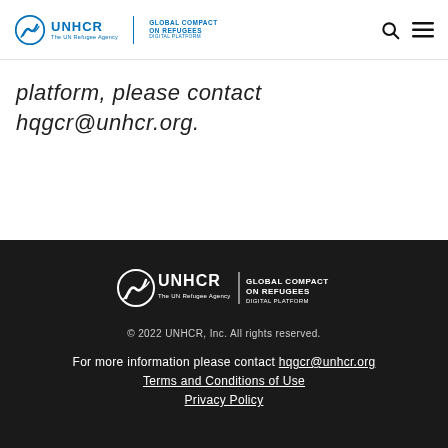UNHCR Global Compact on Refugees Digital Platform header with logo
platform, please contact hqgcr@unhcr.org.
[Figure (logo): UNHCR Global Compact on Refugees Digital Platform logo in white on dark background]
© 2022 UNHCR, Inc. All rights reserved.
For more information please contact hqgcr@unhcr.org Terms and Conditions of Use Privacy Policy